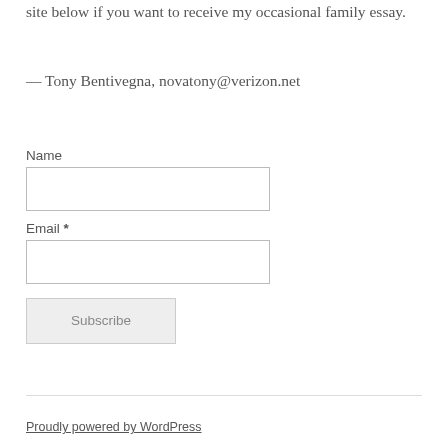site below if you want to receive my occasional family essay.
— Tony Bentivegna, novatony@verizon.net
Name
Email *
Subscribe
Proudly powered by WordPress